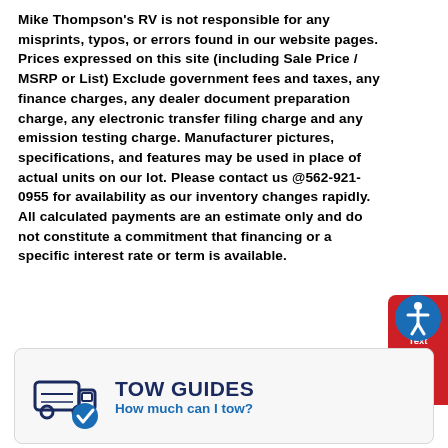Mike Thompson's RV is not responsible for any misprints, typos, or errors found in our website pages. Prices expressed on this site (including Sale Price / MSRP or List) Exclude government fees and taxes, any finance charges, any dealer document preparation charge, any electronic transfer filing charge and any emission testing charge. Manufacturer pictures, specifications, and features may be used in place of actual units on our lot. Please contact us @562-921-0955 for availability as our inventory changes rapidly. All calculated payments are an estimate only and do not constitute a commitment that financing or a specific interest rate or term is available.
[Figure (infographic): Red sidebar widget with phone/text icon and chat icon, labeled 'Text Us']
[Figure (infographic): Blue circular accessibility icon (person with arms outstretched)]
[Figure (infographic): Tow Guides section with a truck/checkmark icon, title TOW GUIDES and subtitle How much can I tow?]